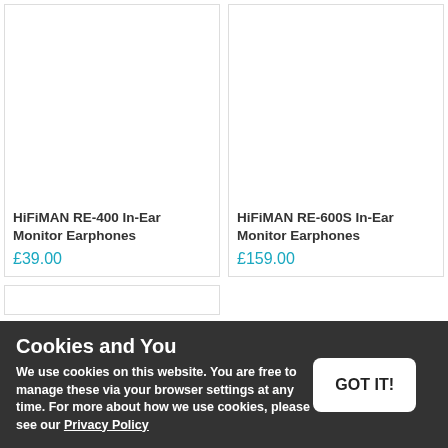HiFiMAN RE-400 In-Ear Monitor Earphones
£39.00
HiFiMAN RE-600S In-Ear Monitor Earphones
£159.00
Cookies and You
We use cookies on this website. You are free to manage these via your browser settings at any time. For more about how we use cookies, please see our Privacy Policy
GOT IT!